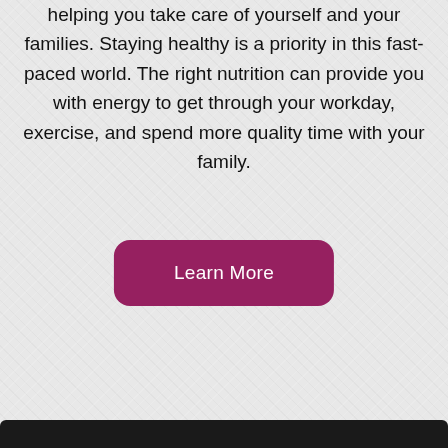helping you take care of yourself and your families. Staying healthy is a priority in this fast-paced world. The right nutrition can provide you with energy to get through your workday, exercise, and spend more quality time with your family.
Learn More